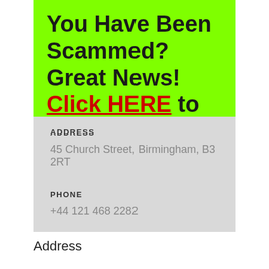You Have Been Scammed?  Great News! Click HERE to Get Started
ADDRESS
45 Church Street, Birmingham, B3 2RT
PHONE
+44 121 468 2282
Address